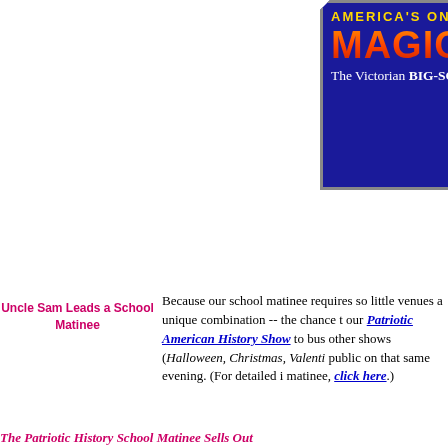[Figure (logo): Magic-Lantern banner logo on dark blue background with text: AMERICA'S ONLY AUTHEM (cut off), MAGIC-LANTERN in large orange-red gradient letters, The Victorian BIG-SCREEN Extravaganzas]
Uncle Sam Leads a School Matinee
Because our school matinee requires so little venues a unique combination -- the chance to our Patriotic American History Show to bus other shows (Halloween, Christmas, Valenti public on that same evening. (For detailed i matinee, click here.)
The Patriotic History School Matinee Sells Out the...